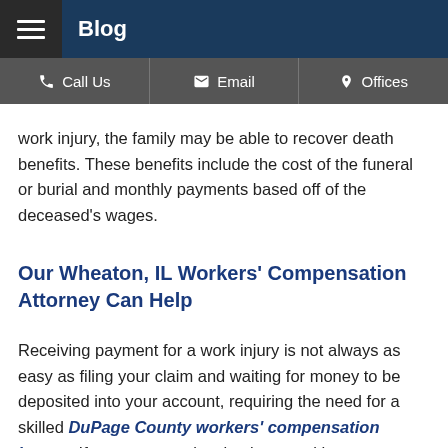Blog
Call Us   Email   Offices
work injury, the family may be able to recover death benefits. These benefits include the cost of the funeral or burial and monthly payments based off of the deceased's wages.
Our Wheaton, IL Workers' Compensation Attorney Can Help
Receiving payment for a work injury is not always as easy as filing your claim and waiting for money to be deposited into your account, requiring the need for a skilled DuPage County workers' compensation lawyer. If you are experiencing issues with your workers' compensation claim or you have received a , you should speak with the team at the Law Offices of David W. Clark, P.C. We can help you get the